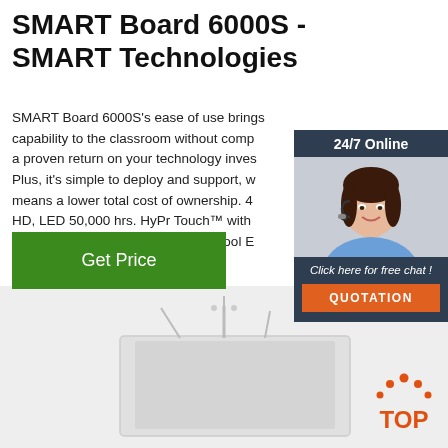SMART Board 6000S - SMART Technologies
SMART Board 6000S's ease of use brings capability to the classroom without complexity, a proven return on your technology investment. Plus, it's simple to deploy and support, which means a lower total cost of ownership. 4K UHD, LED 50,000 hrs. HyPr Touch™ with InGlass™. 40 points of touch with Tool Explorer.
[Figure (photo): Customer support representative with headset, 24/7 Online chat widget with QUOTATION button]
[Figure (illustration): Green Get Price button]
[Figure (photo): SMART Board 6000S product image on light grey background]
[Figure (logo): TOP logo with orange dot-arc above text]